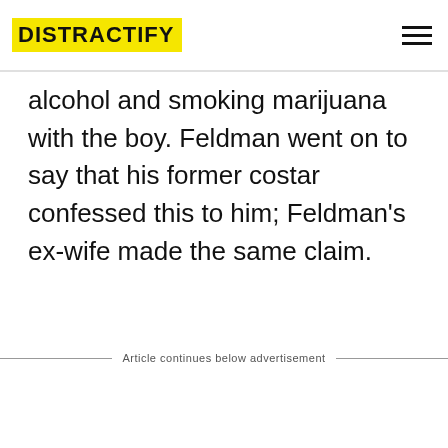DISTRACTIFY
alcohol and smoking marijuana with the boy. Feldman went on to say that his former costar confessed this to him; Feldman's ex-wife made the same claim.
Article continues below advertisement